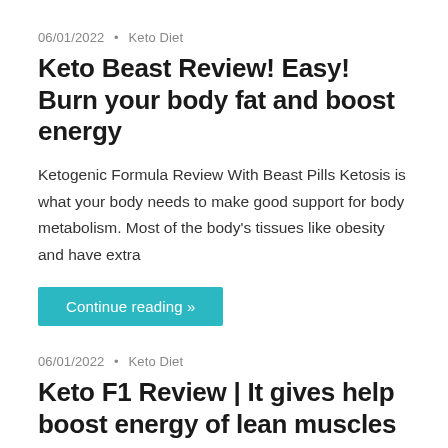06/01/2022 • Keto Diet
Keto Beast Review! Easy! Burn your body fat and boost energy
Ketogenic Formula Review With Beast Pills Ketosis is what your body needs to make good support for body metabolism. Most of the body's tissues like obesity and have extra
Continue reading »
06/01/2022 • Keto Diet
Keto F1 Review | It gives help boost energy of lean muscles